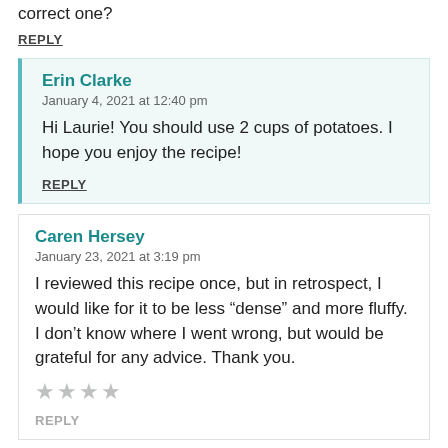correct one?
REPLY
Erin Clarke
January 4, 2021 at 12:40 pm
Hi Laurie! You should use 2 cups of potatoes. I hope you enjoy the recipe!
REPLY
Caren Hersey
January 23, 2021 at 3:19 pm
I reviewed this recipe once, but in retrospect, I would like for it to be less “dense” and more fluffy. I don’t know where I went wrong, but would be grateful for any advice. Thank you.
REPLY